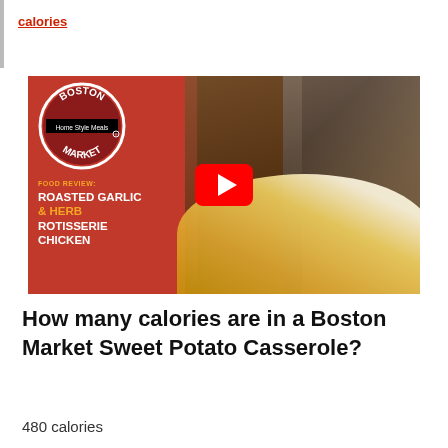calories
[Figure (screenshot): YouTube video thumbnail for Boston Market Food Review: Roasted Garlic & Herb Rotisserie Chicken. Left side has red background with Boston Market logo and text. Right side shows two people in a car, one holding a plate of food with chicken and mac and cheese. A YouTube play button is overlaid in the center.]
How many calories are in a Boston Market Sweet Potato Casserole?
480 calories